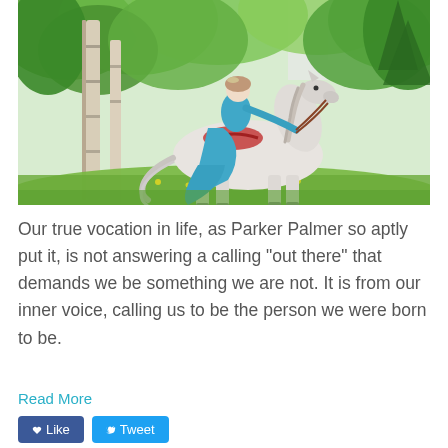[Figure (photo): A woman in a long teal/turquoise dress riding a white horse in a lush green forest setting with birch trees in the background.]
Our true vocation in life, as Parker Palmer so aptly put it, is not answering a calling “out there” that demands we be something we are not. It is from our inner voice, calling us to be the person we were born to be.
Read More